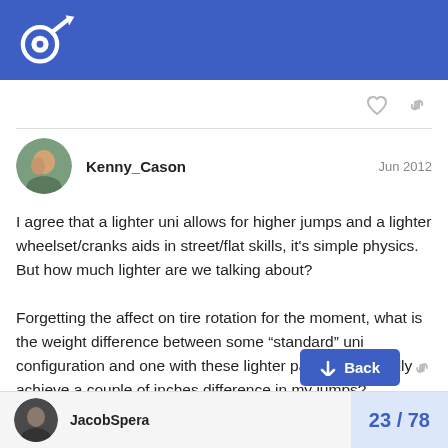Forum header with logo
Kenny_Cason  Jun 2012
I agree that a lighter uni allows for higher jumps and a lighter wheelset/cranks aids in street/flat skills, it's simple physics. But how much lighter are we talking about?

Forgetting the affect on tire rotation for the moment, what is the weight difference between some “standard” uni configuration and one with these lighter parts? Will I really achieve a couple of inches difference in my jumps?
JacobSpera  23 / 78